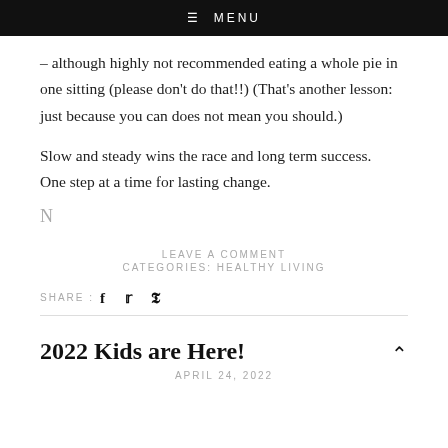≡ MENU
– although highly not recommended eating a whole pie in one sitting (please don't do that!!) (That's another lesson: just because you can does not mean you should.)
Slow and steady wins the race and long term success. One step at a time for lasting change.
N
LEAVE A COMMENT
CATEGORIES: HEALTHY LIVING
SHARE : f  🐦  p
2022 Kids are Here!
APRIL 24, 2022